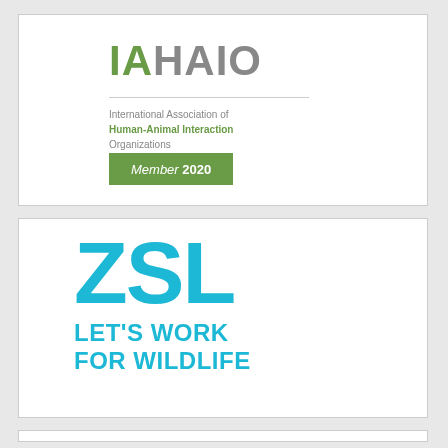[Figure (logo): IAHAIO logo with green 'IA' and grey 'HAIO' text, a horizontal divider, organization full name text, and a green 'Member 2020' badge]
[Figure (logo): ZSL logo with large cyan/turquoise 'ZSL' letters and tagline 'LET'S WORK FOR WILDLIFE' in the same color]